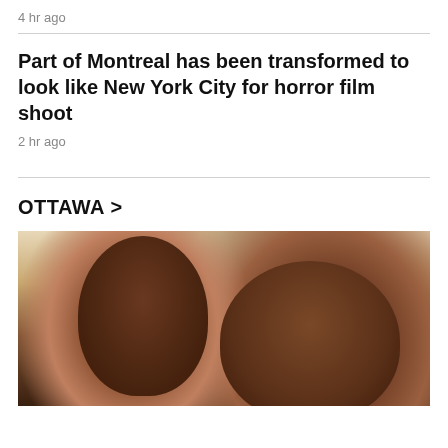4 hr ago
Part of Montreal has been transformed to look like New York City for horror film shoot
2 hr ago
OTTAWA >
[Figure (photo): Photo of a young child with a medical tube near their nose smiling, alongside an adult smiling, both of Black ethnicity, appearing to be in a medical or indoor setting.]